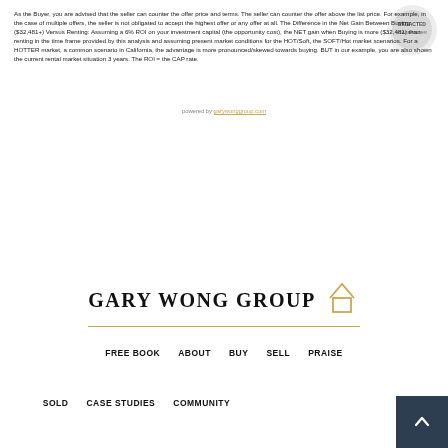As the Buyer, you are advised that the seller can counter the offer price and terms. The seller can counter the offer above the list price. For example, in the case of multiple offers, the seller is not obligated to accept the highest offer or any offer at all. The Difference in the Net Gain Between Buying ($32,481+) Versus Renting: Assuming a 6% ROI on your investment capital (the opportunity cost), the NET gain when Buying is more ($32,481) than renting in the time frame provided by this analysis and assuming present market conditions for the HOT/Soft, the SOFT/Hot market scenarios. For a HOTTER market, a common scenario in California, the advantage is more pronounced/skewed towards buying. BUT in our example, you are also shown the current rental market situation 3 years. The ROI ≈ the CAP rate.
powered by [redacted]
[Figure (logo): Gary Wong Group real estate logo with house outline icon and gold underline]
FREE BOOK   ABOUT   BUY   SELL   PRAISE   SOLD   CASE STUDIES   COMMUNITY